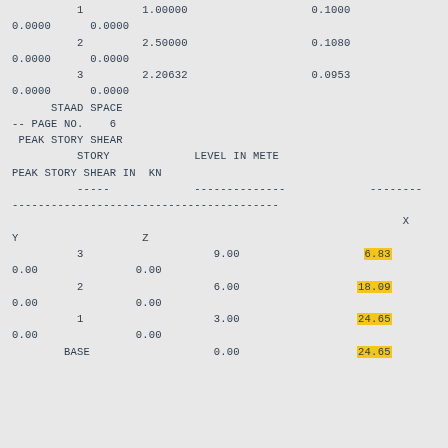1         1.00000                   0.1000
0.0000      0.0000
         2         2.50000                   0.1080
0.0000      0.0000
         3         2.20632                   0.0953
0.0000      0.0000
STAAD SPACE
-- PAGE NO.    6
 PEAK STORY SHEAR
          STORY             LEVEL IN METE
PEAK STORY SHEAR IN  KN
          -----             --------------             --------
-----------------------------------------
                                                            X
Y                   Z
          3                    9.00                   6.83
0.00               0.00
          2                    6.00                  18.09
0.00               0.00
          1                    3.00                  24.65
0.00               0.00
        BASE                   0.00                  24.65